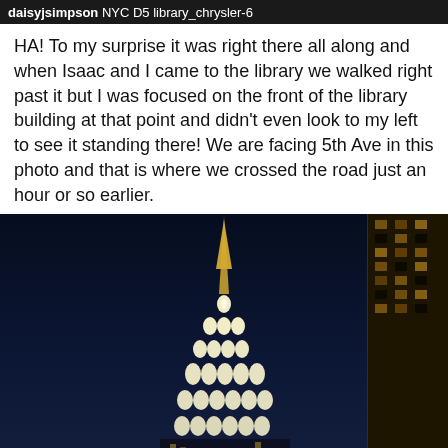daisyjsimpson NYC D5 library_chrysler-6
HA! To my surprise it was right there all along and when Isaac and I came to the library we walked right past it but I was focused on the front of the library building at that point and didn't even look to my left to see it standing there! We are facing 5th Ave in this photo and that is where we crossed the road just an hour or so earlier.
[Figure (photo): Nighttime photo of the illuminated Chrysler Building spire against a dark blue sky, with buildings visible on either side.]